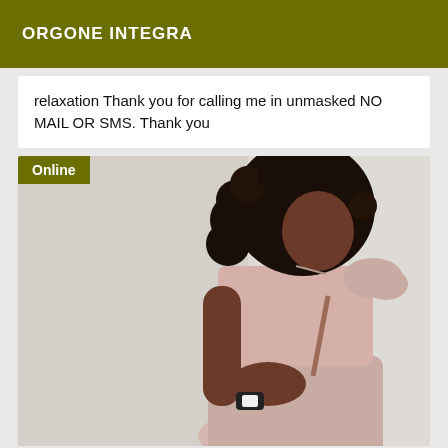ORGONE INTEGRA
relaxation Thank you for calling me in unmasked NO MAIL OR SMS. Thank you
[Figure (photo): Woman wearing a pink crop top and skirt, standing in side profile, with curly dark hair and a watch, with an 'Online' badge overlay in the top-left corner]